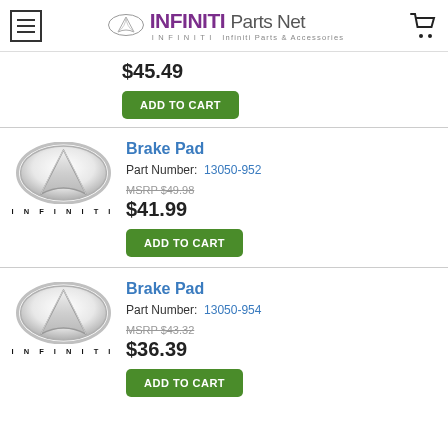INFINITI Parts Net — Infiniti Parts & Accessories
$45.49
ADD TO CART
Brake Pad
Part Number: 13050-952
MSRP $49.98
$41.99
ADD TO CART
Brake Pad
Part Number: 13050-954
MSRP $43.32
$36.39
ADD TO CART